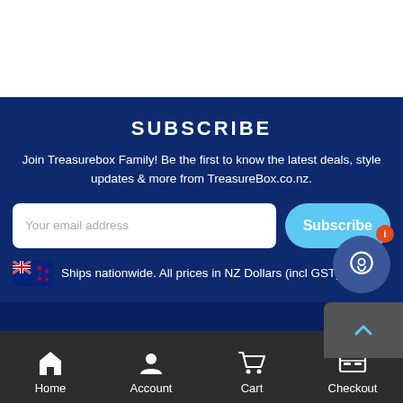SUBSCRIBE
Join Treasurebox Family! Be the first to know the latest deals, style updates & more from TreasureBox.co.nz.
Your email address
Subscribe
Ships nationwide. All prices in NZ Dollars (incl GST).
Home  Account  Cart  Checkout